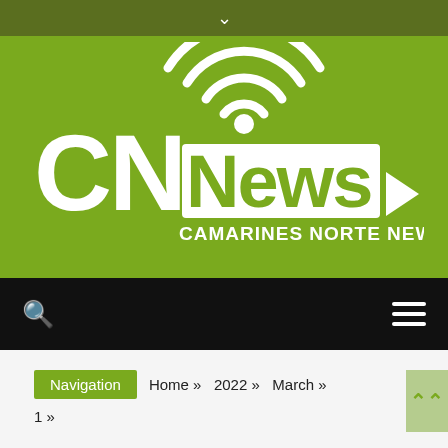▾
[Figure (logo): CNNews - Camarines Norte News logo on green background. White text showing 'CN' in large bold letters, 'News' beside it, with a wifi/broadcast signal icon above, a right-pointing navigation arrow, and tagline 'CAMARINES NORTE NEWS' below.]
Search | Menu
Navigation  Home » 2022 » March » 1 »